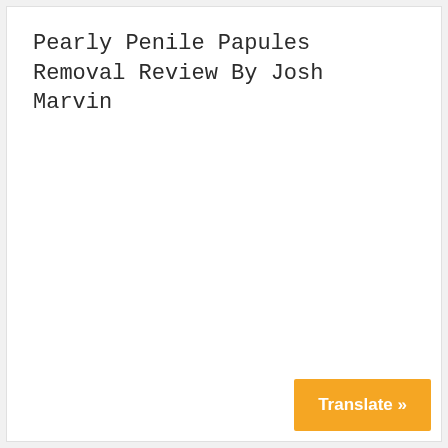Pearly Penile Papules Removal Review By Josh Marvin
Translate »